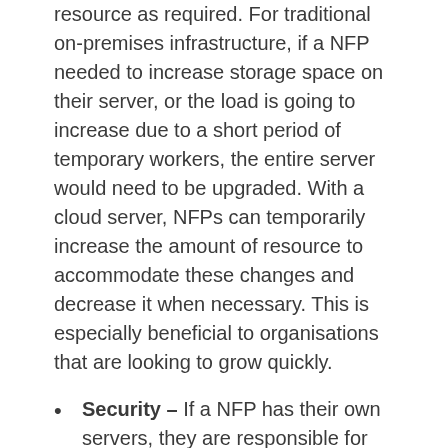resource as required. For traditional on-premises infrastructure, if a NFP needed to increase storage space on their server, or the load is going to increase due to a short period of temporary workers, the entire server would need to be upgraded. With a cloud server, NFPs can temporarily increase the amount of resource to accommodate these changes and decrease it when necessary. This is especially beneficial to organisations that are looking to grow quickly.
Security – If a NFP has their own servers, they are responsible for ensuring that it is secure, both